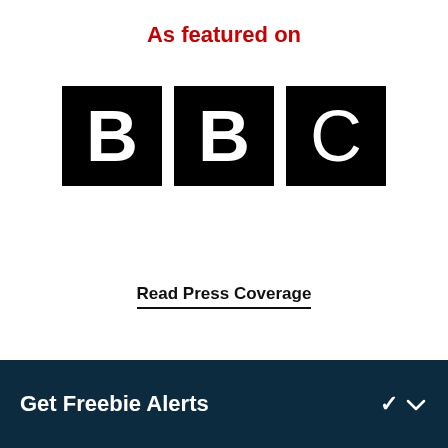As featured on
[Figure (logo): BBC logo consisting of three black squares each containing a white letter: B, B, C]
Read Press Coverage
Get Freebie Alerts